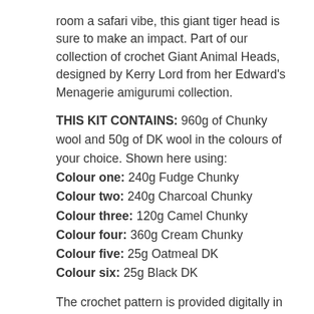room a safari vibe, this giant tiger head is sure to make an impact. Part of our collection of crochet Giant Animal Heads, designed by Kerry Lord from her Edward's Menagerie amigurumi collection.
THIS KIT CONTAINS: 960g of Chunky wool and 50g of DK wool in the colours of your choice. Shown here using:
Colour one: 240g Fudge Chunky
Colour two: 240g Charcoal Chunky
Colour three: 120g Camel Chunky
Colour four: 360g Cream Chunky
Colour five: 25g Oatmeal DK
Colour six: 25g Black DK
The crochet pattern is provided digitally in .pdf format. You can download this from a link that will appear in your MY TOFT area and at the bottom of your order confirmation email, which you can save